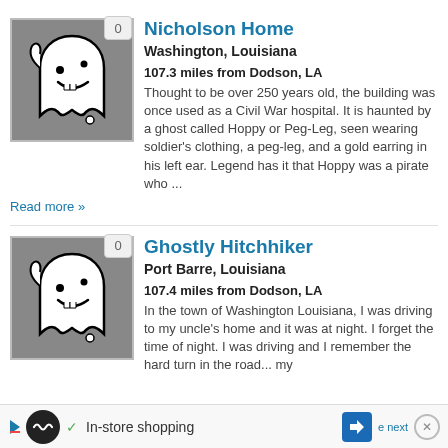[Figure (illustration): Ghost cartoon illustration on grey background with badge showing 0]
Nicholson Home
Washington, Louisiana
107.3 miles from Dodson, LA
Thought to be over 250 years old, the building was once used as a Civil War hospital. It is haunted by a ghost called Hoppy or Peg-Leg, seen wearing soldier's clothing, a peg-leg, and a gold earring in his left ear. Legend has it that Hoppy was a pirate who ...
Read more »
[Figure (illustration): Ghost cartoon illustration on grey background with badge showing 0]
Ghostly Hitchhiker
Port Barre, Louisiana
107.4 miles from Dodson, LA
In the town of Washington Louisiana, I was driving to my uncle's home and it was at night. I forget the time of night. I was driving and I remember the hard turn in the road... my
✓ In-store shopping